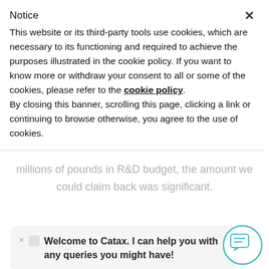Notice
This website or its third-party tools use cookies, which are necessary to its functioning and required to achieve the purposes illustrated in the cookie policy. If you want to know more or withdraw your consent to all or some of the cookies, please refer to the cookie policy.
By closing this banner, scrolling this page, clicking a link or continuing to browse otherwise, you agree to the use of cookies.
millions of pounds in R&D budget, the amount we could claim back was significant.
Welcome to Catax. I can help you with any queries you might have!
process and unlocking the money which we will use to invest in more R&D work in the augmented reality space."
Kelly Nili; Associate Director of specialist R&D t...